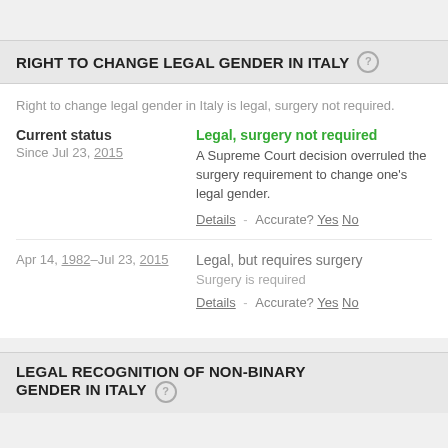RIGHT TO CHANGE LEGAL GENDER IN ITALY
Right to change legal gender in Italy is legal, surgery not required.
Current status
Since Jul 23, 2015
Legal, surgery not required
A Supreme Court decision overruled the surgery requirement to change one’s legal gender.
Details - Accurate? Yes No
Apr 14, 1982–Jul 23, 2015
Legal, but requires surgery
Surgery is required
Details - Accurate? Yes No
LEGAL RECOGNITION OF NON-BINARY GENDER IN ITALY